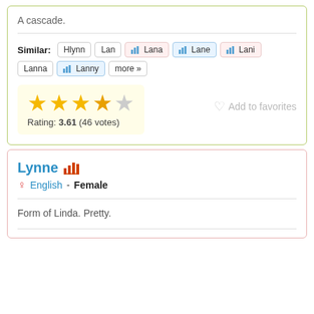A cascade.
Similar: Hlynn Lan Lana Lane Lani Lanna Lanny more »
[Figure (other): Four and a half star rating display (3.61 out of 5, 46 votes)]
Rating: 3.61 (46 votes)
Add to favorites
Lynne
English - Female
Form of Linda. Pretty.